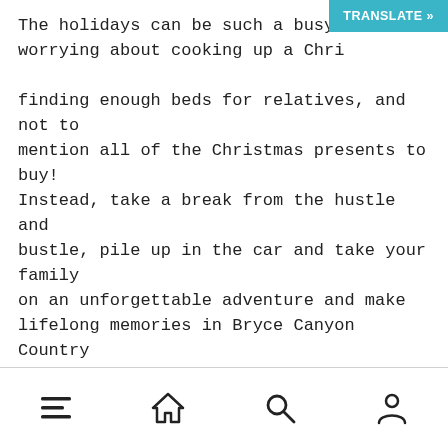The holidays can be such a busy time, worrying about cooking up a Christmas meal, finding enough beds for relatives, and not to mention all of the Christmas presents to buy! Instead, take a break from the hustle and bustle, pile up in the car and take your family on an unforgettable adventure and make lifelong memories in Bryce Canyon Country this holiday season.
SPEND THE HOLIDAYS IN A COZY CABIN
Lasting memories can be cuddled up in a cozy cabin or a vacation rental after a day
[navigation icons: menu, home, search, profile]